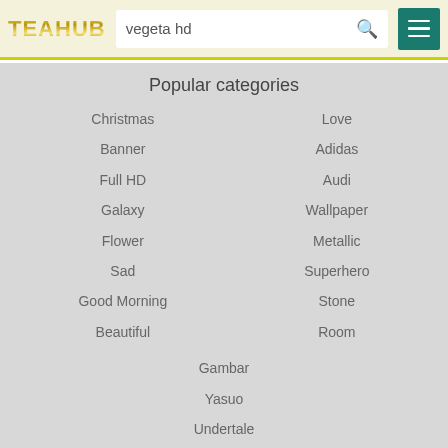TEAHUB — vegeta hd search bar with menu button
Popular categories
Christmas
Banner
Full HD
Galaxy
Flower
Sad
Good Morning
Beautiful
Love
Adidas
Audi
Wallpaper
Metallic
Superhero
Stone
Room
Gambar
Yasuo
Undertale
Sasuke
Vegeta
Doraemon
Pikachu